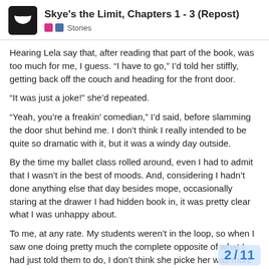Skye's the Limit, Chapters 1 - 3 (Repost) — Stories
Hearing Lela say that, after reading that part of the book, was too much for me, I guess. “I have to go,” I’d told her stiffly, getting back off the couch and heading for the front door.
“It was just a joke!” she’d repeated.
“Yeah, you’re a freakin’ comedian,” I’d said, before slamming the door shut behind me. I don’t think I really intended to be quite so dramatic with it, but it was a windy day outside.
By the time my ballet class rolled around, even I had to admit that I wasn’t in the best of moods. And, considering I hadn’t done anything else that day besides mope, occasionally staring at the drawer I had hidden book in, it was pretty clear what I was unhappy about.
To me, at any rate. My students weren’t in the loop, so when I saw one doing pretty much the complete opposite of what I had just told them to do, I don’t think she picke her was more me working out my own frus